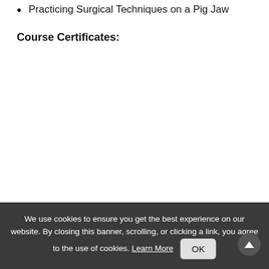Practicing Surgical Techniques on a Pig Jaw
Course Certificates:
We use cookies to ensure you get the best experience on our website. By closing this banner, scrolling, or clicking a link, you agree to the use of cookies. Learn More OK